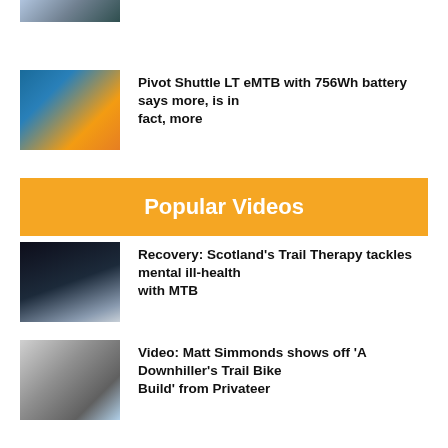[Figure (photo): Thumbnail of a mountain bike (partial, top of page)]
Pivot Shuttle LT eMTB with 756Wh battery says more, is in fact, more
Popular Videos
[Figure (photo): Thumbnail of two silhouetted figures at a wooden viewpoint structure, Scotland trail therapy]
Recovery: Scotland's Trail Therapy tackles mental ill-health with MTB
[Figure (photo): Thumbnail of Matt Simmonds with another person and a trail bike, Privateer build]
Video: Matt Simmonds shows off 'A Downhiller's Trail Bike Build' from Privateer
Must Watch: Top 3 runs of Red Bull Joyride, including Lemoine's insane send!
Video: Tito Tomasi's Blurred Lines on his Kona Hei Hei CR